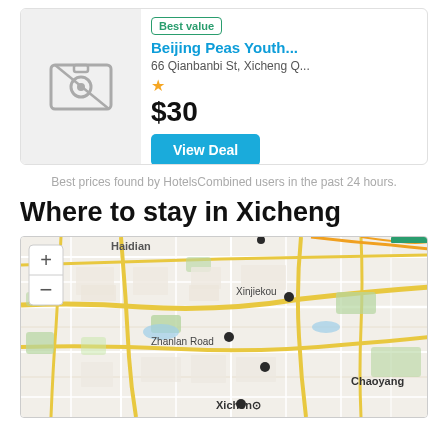[Figure (screenshot): Hotel listing card for Beijing Peas Youth Hostel showing no-photo placeholder, Best value badge, address, 1-star rating, $30 price, and View Deal button]
Best prices found by HotelsCombined users in the past 24 hours.
Where to stay in Xicheng
[Figure (map): Map showing Xicheng district of Beijing with labels for Haidian, Xinjiekou, Zhanlan Road, Chaoyang, Xicheng, zoom in/out buttons, and several location dots]